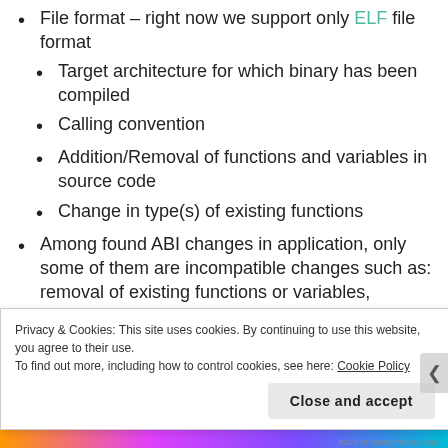File format – right now we support only ELF file format
Target architecture for which binary has been compiled
Calling convention
Addition/Removal of functions and variables in source code
Change in type(s) of existing functions
Among found ABI changes in application, only some of them are incompatible changes such as: removal of existing functions or variables, incompatible layout changes in types.
Privacy & Cookies: This site uses cookies. By continuing to use this website, you agree to their use.
To find out more, including how to control cookies, see here: Cookie Policy
Close and accept